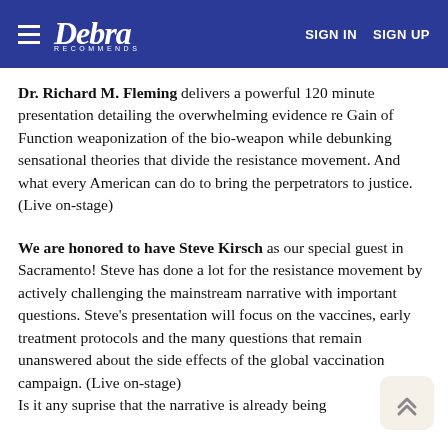Debra Recommends | SIGN IN  SIGN UP
Dr. Richard M. Fleming delivers a powerful 120 minute presentation detailing the overwhelming evidence re Gain of Function weaponization of the bio-weapon while debunking sensational theories that divide the resistance movement. And what every American can do to bring the perpetrators to justice. (Live on-stage)
We are honored to have Steve Kirsch as our special guest in Sacramento! Steve has done a lot for the resistance movement by actively challenging the mainstream narrative with important questions. Steve's presentation will focus on the vaccines, early treatment protocols and the many questions that remain unanswered about the side effects of the global vaccination campaign. (Live on-stage) Is it any suprise that the narrative is already being